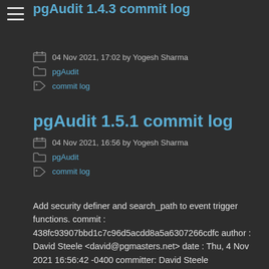pgAudit 1.4.3 commit log
04 Nov 2021, 17:02 by Yogesh Sharma
pgAudit
commit log
pgAudit 1.5.1 commit log
04 Nov 2021, 16:56 by Yogesh Sharma
pgAudit
commit log
Add security definer and search_path to event trigger functions. commit : 438fc93907bbd1c7c96d5acdd8a5a6307266cdfc author : David Steele <david@pgmasters.net> date : Thu, 4 Nov 2021 16:56:42 -0400 committer: David Steele <david@pgmasters.net> date : Thu, 4 Nov 2021 16:56:42 -0400 Click here for diff Similar to